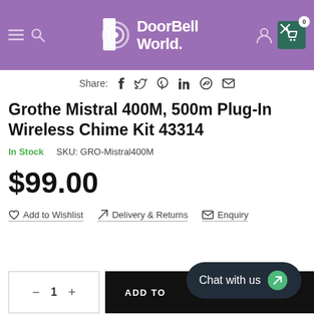[Figure (screenshot): DoorBell World website header with purple background, logo, hamburger menu, search icon, account icon, and cart icon showing 0 items]
Share: (social icons for Facebook, Twitter, Pinterest, LinkedIn, WhatsApp, Email)
Grothe Mistral 400M, 500m Plug-In Wireless Chime Kit 43314
In Stock   SKU: GRO-Mistral400M
$99.00
♡ Add to Wishlist   ⊳ Delivery & Returns   ✉ Enquiry
− 1 +   ADD TO (CART)
Chat with us